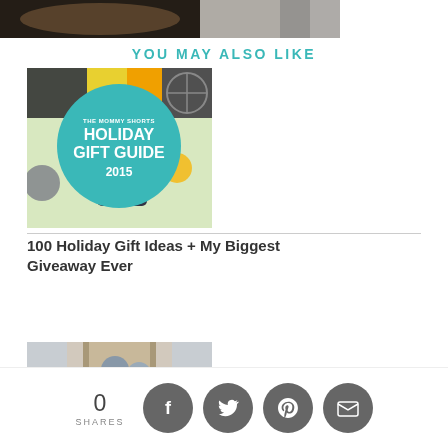[Figure (photo): Partial top image strip showing hands/paper at top of page]
YOU MAY ALSO LIKE
[Figure (photo): Holiday Gift Guide 2015 thumbnail image with teal circle and colorful gift items background]
100 Holiday Gift Ideas + My Biggest Giveaway Ever
[Figure (photo): Photo of two people standing at a doorway]
0 SHARES